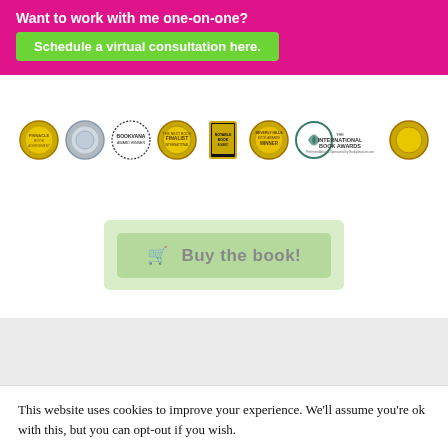Want to work with me one-on-one?
Schedule a virtual consultation here.
[Figure (illustration): Row of book award badges/medals including Bookvana Award Winner, Finalist badge, Notable book badge, Beverly Hills Book Awards Winner, International Book Awards, and other award medallions]
[Figure (illustration): Green button with shopping cart icon and text: Buy the book!]
This website uses cookies to improve your experience. We'll assume you're ok with this, but you can opt-out if you wish.
Read More
ACCEPT
REJECT